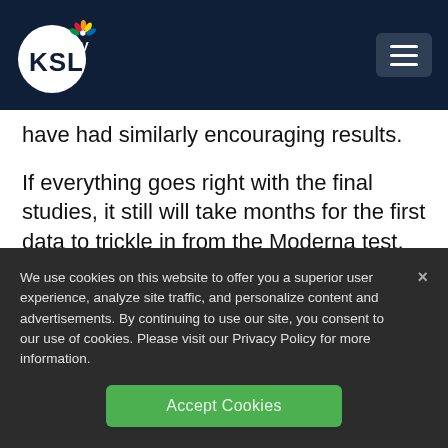KSL TV 5
have had similarly encouraging results.
If everything goes right with the final studies, it still will take months for the first data to trickle in from the Moderna test, followed by the Oxford one.
We use cookies on this website to offer you a superior user experience, analyze site traffic, and personalize content and advertisements. By continuing to use our site, you consent to our use of cookies. Please visit our Privacy Policy for more information.